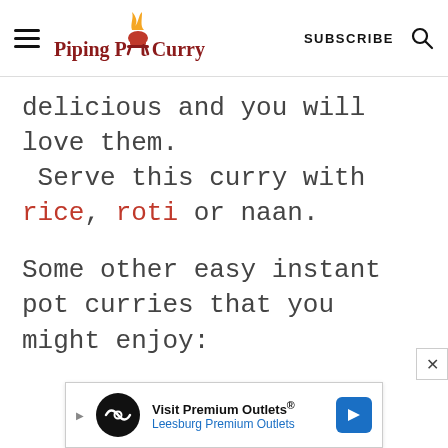Piping Pot Curry — SUBSCRIBE
delicious and you will love them. Serve this curry with rice, roti or naan.
Some other easy instant pot curries that you might enjoy:
[Figure (screenshot): Advertisement banner: Visit Premium Outlets® Leesburg Premium Outlets with logo and direction arrow icon]